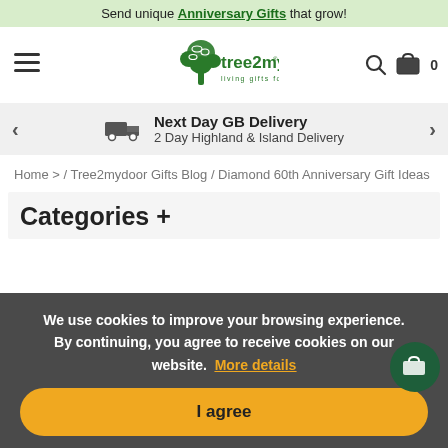Send unique Anniversary Gifts that grow!
[Figure (logo): Tree2mydoor.com logo with tree icon and tagline 'living gifts for lasting memories']
Next Day GB Delivery
2 Day Highland & Island Delivery
Home > / Tree2mydoor Gifts Blog / Diamond 60th Anniversary Gift Ideas
Categories +
We use cookies to improve your browsing experience. By continuing, you agree to receive cookies on our website. More details
I agree